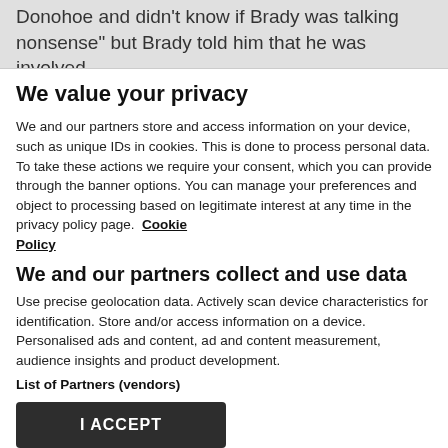Donohoe and didn't know if Brady was  talking nonsense" but Brady told him that he was involved
We value your privacy
We and our partners store and access information on your device, such as unique IDs in cookies. This is done to process personal data. To take these actions we require your consent, which you can provide through the banner options. You can manage your preferences and object to processing based on legitimate interest at any time in the privacy policy page.  Cookie Policy
We and our partners collect and use data
Use precise geolocation data. Actively scan device characteristics for identification. Store and/or access information on a device. Personalised ads and content, ad and content measurement, audience insights and product development.
List of Partners (vendors)
I ACCEPT